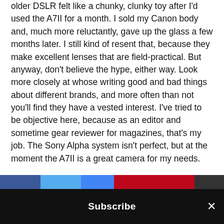older DSLR felt like a chunky, clunky toy after I'd used the A7II for a month. I sold my Canon body and, much more reluctantly, gave up the glass a few months later. I still kind of resent that, because they make excellent lenses that are field-practical. But anyway, don't believe the hype, either way. Look more closely at whose writing good and bad things about different brands, and more often than not you'll find they have a vested interest. I've tried to be objective here, because as an editor and sometime gear reviewer for magazines, that's my job. The Sony Alpha system isn't perfect, but at the moment the A7II is a great camera for my needs.
http://www.davidlintern.com
[Figure (other): Social sharing buttons bar: Facebook (blue), Twitter (light blue), Google+ (blue), Pinterest (red), and a dark button on the right]
Subscribe ×